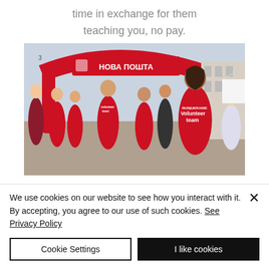time in exchange for them teaching you, no pay.
[Figure (photo): Outdoor running event with volunteers wearing red RUN UKRAINE Volunteer team shirts, under a red inflatable arch branded НОВА ПОШТА, crowd of participants.]
We use cookies on our website to see how you interact with it. By accepting, you agree to our use of such cookies. See Privacy Policy
Cookie Settings
I like cookies